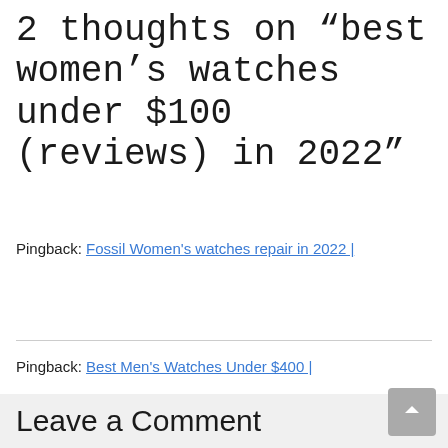2 thoughts on “best women’s watches under $100 (reviews) in 2022”
Pingback: Fossil Women's watches repair in 2022 |
Pingback: Best Men's Watches Under $400 |
Leave a Comment